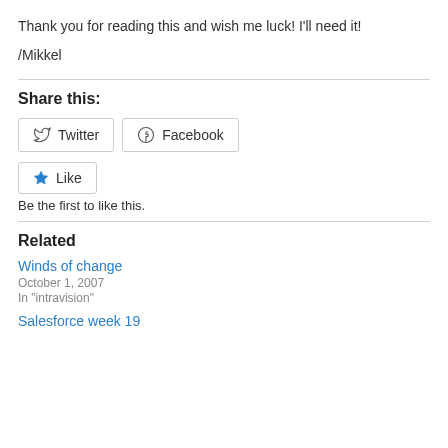Thank you for reading this and wish me luck! I'll need it!
/Mikkel
Share this:
[Figure (other): Twitter and Facebook share buttons, and a Like button with star icon]
Be the first to like this.
Related
Winds of change
October 1, 2007
In "intravision"
Salesforce week 19